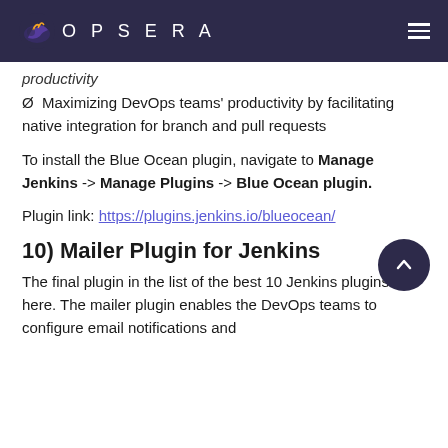OPSERA
productivity
Ø  Maximizing DevOps teams' productivity by facilitating native integration for branch and pull requests
To install the Blue Ocean plugin, navigate to Manage Jenkins -> Manage Plugins -> Blue Ocean plugin.
Plugin link: https://plugins.jenkins.io/blueocean/
10) Mailer Plugin for Jenkins
The final plugin in the list of the best 10 Jenkins plugins is here. The mailer plugin enables the DevOps teams to configure email notifications and